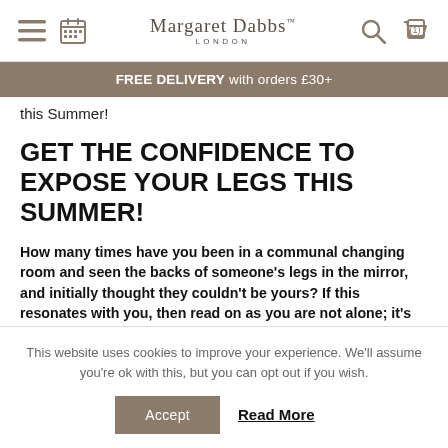Margaret Dabbs LONDON
FREE DELIVERY with orders £30+
this Summer!
GET THE CONFIDENCE TO EXPOSE YOUR LEGS THIS SUMMER!
How many times have you been in a communal changing room and seen the backs of someone's legs in the mirror, and initially thought they couldn't be yours? If this resonates with you, then read on as you are not alone; it's
This website uses cookies to improve your experience. We'll assume you're ok with this, but you can opt out if you wish.
Accept  Read More